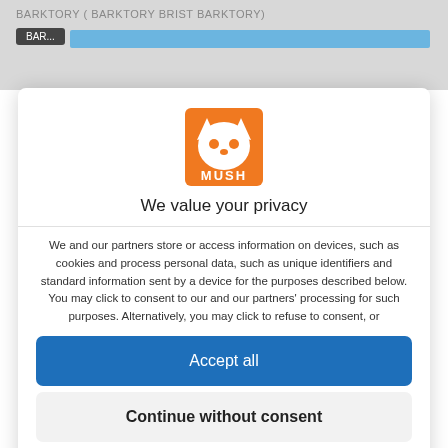[Figure (screenshot): Blurred background showing a webpage with dark button and blue progress/search bar]
[Figure (logo): MUSH brand logo: orange square with white stylized fox/cat face and MUSH text]
We value your privacy
We and our partners store or access information on devices, such as cookies and process personal data, such as unique identifiers and standard information sent by a device for the purposes described below. You may click to consent to our and our partners' processing for such purposes. Alternatively, you may click to refuse to consent, or
Accept all
Continue without consent
Individual privacy preferences
Privacy policy • Imprint